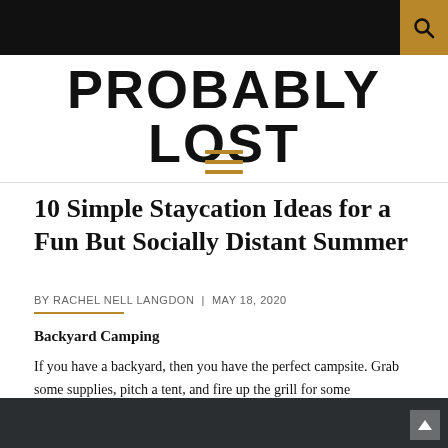PROBABLY LOST
10 Simple Staycation Ideas for a Fun But Socially Distant Summer
BY RACHEL NELL LANGDON | MAY 18, 2020
Backyard Camping
If you have a backyard, then you have the perfect campsite. Grab some supplies, pitch a tent, and fire up the grill for some s’mores. You can even take a hike around the neighborhood to get the full experience.
[Figure (photo): Dark outdoor camping photo at bottom of page]